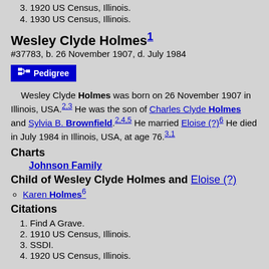3. 1920 US Census, Illinois.
4. 1930 US Census, Illinois.
Wesley Clyde Holmes¹
#37783, b. 26 November 1907, d. July 1984
[Figure (other): Pedigree button (blue button with pedigree tree icon and text 'Pedigree')]
Wesley Clyde Holmes was born on 26 November 1907 in Illinois, USA.²³ He was the son of Charles Clyde Holmes and Sylvia B. Brownfield.²⁴⁵ He married Eloise (?)⁶ He died in July 1984 in Illinois, USA, at age 76.³¹
Charts
Johnson Family
Child of Wesley Clyde Holmes and Eloise (?)
Karen Holmes⁶
Citations
1. Find A Grave.
2. 1910 US Census, Illinois.
3. SSDI.
4. 1920 US Census, Illinois.